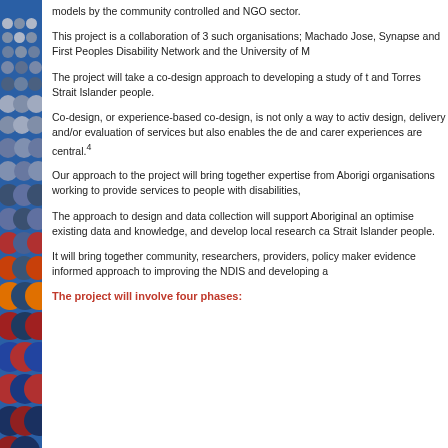models by the community controlled and NGO sector.
This project is a collaboration of 3 such organisations; Machado Jose, Synapse and First Peoples Disability Network and the University of M...
The project will take a co-design approach to developing a study of the... and Torres Strait Islander people.
Co-design, or experience-based co-design, is not only a way to activ... design, delivery and/or evaluation of services but also enables the de... and carer experiences are central.4
Our approach to the project will bring together expertise from Aborigin... organisations working to provide services to people with disabilities,...
The approach to design and data collection will support Aboriginal an... optimise existing data and knowledge, and develop local research ca... Strait Islander people.
It will bring together community, researchers, providers, policy maker... evidence informed approach to improving the NDIS and developing a...
The project will involve four phases: